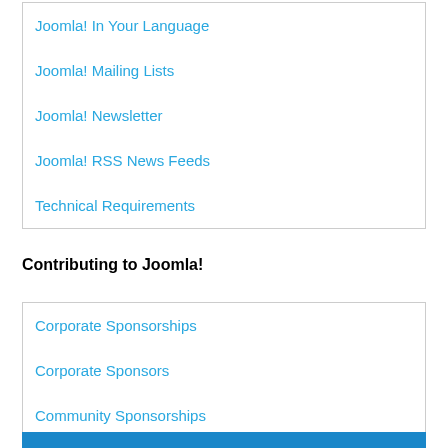Joomla! In Your Language
Joomla! Mailing Lists
Joomla! Newsletter
Joomla! RSS News Feeds
Technical Requirements
Contributing to Joomla!
Corporate Sponsorships
Corporate Sponsors
Community Sponsorships
Volunteers Portal